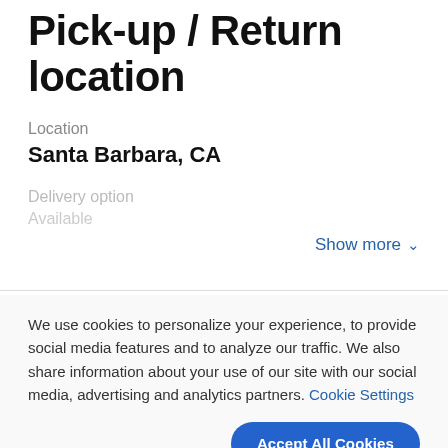Pick-up / Return location
Location
Santa Barbara, CA
Delivery option
Available
Show more
We use cookies to personalize your experience, to provide social media features and to analyze our traffic. We also share information about your use of our site with our social media, advertising and analytics partners. Cookie Settings
Accept All Cookies